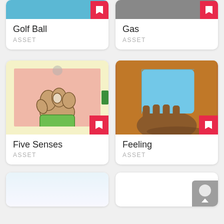[Figure (screenshot): Golf Ball asset card - partial top, blue image area with bookmark icon]
Golf Ball
ASSET
[Figure (screenshot): Gas asset card - partial top, grey/dark photo with bookmark icon]
Gas
ASSET
[Figure (illustration): Five Senses asset card - yellow background with illustration of hand holding small object, pink rectangle, green sleeve, bookmark icon]
Five Senses
ASSET
[Figure (photo): Feeling asset card - photo of hand holding blue foam/clay block, person wearing orange shirt, bookmark icon]
Feeling
ASSET
[Figure (screenshot): Partial card bottom left - white/light blue]
[Figure (screenshot): Partial card bottom right - white with scroll-to-top grey button]